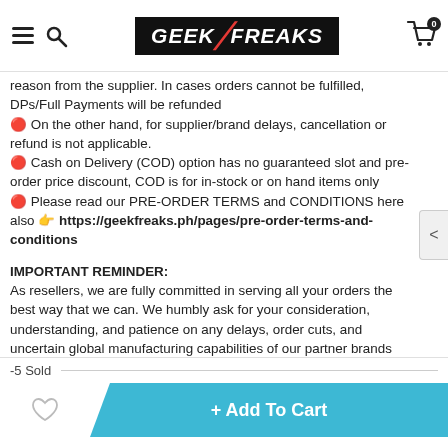[Figure (logo): Geek Freaks logo - white text on black background with red slash, plus hamburger menu and search icon on left, cart icon on right]
reason from the supplier. In cases orders cannot be fulfilled, DPs/Full Payments will be refunded
🔴 On the other hand, for supplier/brand delays, cancellation or refund is not applicable.
🔴 Cash on Delivery (COD) option has no guaranteed slot and pre-order price discount, COD is for in-stock or on hand items only
🔴 Please read our PRE-ORDER TERMS and CONDITIONS here also 👉 https://geekfreaks.ph/pages/pre-order-terms-and-conditions
IMPORTANT REMINDER:
As resellers, we are fully committed in serving all your orders the best way that we can. We humbly ask for your consideration, understanding, and patience on any delays, order cuts, and uncertain global manufacturing capabilities of our partner brands that can happen due to the ongoing pandemic and other uncontrollable factors which might hinder us from fulfilling this promise especially on pre-order items. Thank you very much!
-5 Sold
+ Add To Cart